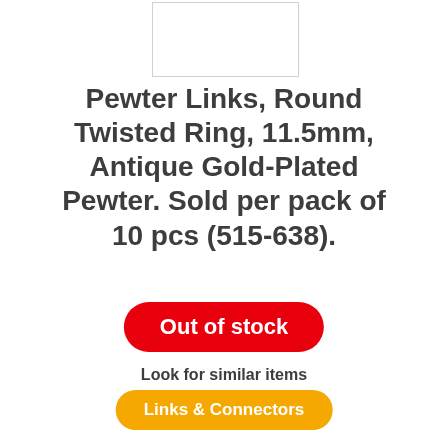[Figure (photo): Product image placeholder box for pewter links]
Pewter Links, Round Twisted Ring, 11.5mm, Antique Gold-Plated Pewter. Sold per pack of 10 pcs (515-638).
Out of stock
Look for similar items
Links & Connectors